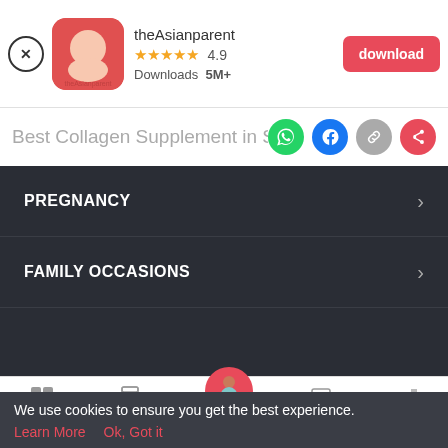[Figure (screenshot): App promotion banner for theAsianparent app showing app icon, 4.9 star rating, 5M+ downloads, and a red download button]
Best Collagen Supplement in Singap
[Figure (infographic): Social share icons: WhatsApp (green), Facebook (blue), link (gray), share (red)]
PREGNANCY
FAMILY OCCASIONS
[Figure (screenshot): Bottom navigation bar with Tools, Articles, Home (pregnant woman icon), Feed, and Poll tabs]
We use cookies to ensure you get the best experience.
Learn More   Ok, Got it